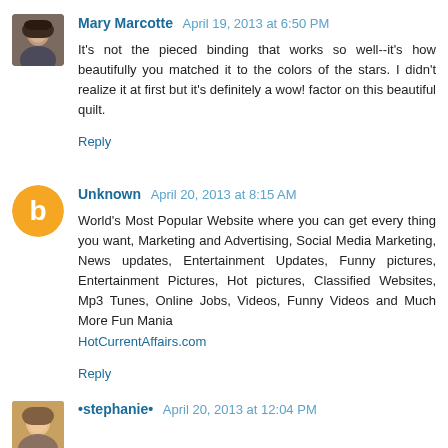Mary Marcotte  April 19, 2013 at 6:50 PM
It's not the pieced binding that works so well--it's how beautifully you matched it to the colors of the stars. I didn't realize it at first but it's definitely a wow! factor on this beautiful quilt.
Reply
Unknown  April 20, 2013 at 8:15 AM
World's Most Popular Website where you can get every thing you want, Marketing and Advertising, Social Media Marketing, News updates, Entertainment Updates, Funny pictures, Entertainment Pictures, Hot pictures, Classified Websites, Mp3 Tunes, Online Jobs, Videos, Funny Videos and Much More Fun Mania
HotCurrentAffairs.com
Reply
•stephanie•  April 20, 2013 at 12:04 PM